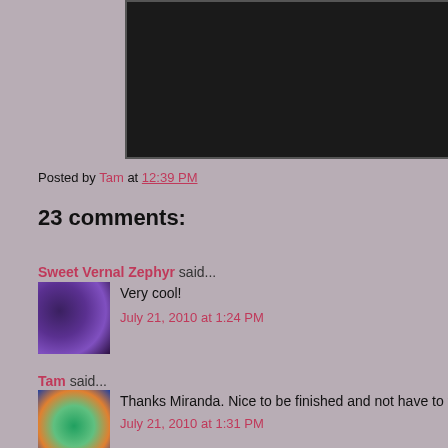[Figure (other): Dark/black image panel at top of blog post]
Posted by Tam at 12:39 PM
23 comments:
Sweet Vernal Zephyr said...
Very cool!
July 21, 2010 at 1:24 PM
Tam said...
Thanks Miranda. Nice to be finished and not have to think about
July 21, 2010 at 1:31 PM
Stephani Hecht said...